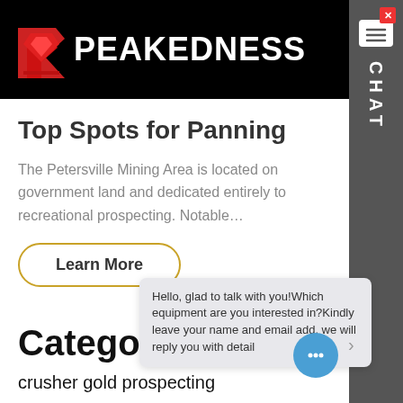PEAKEDNESS
Top Spots for Panning
The Petersville Mining Area is located on government land and dedicated entirely to recreational prospecting. Notable…
Learn More
Categories
crusher gold prospecting
ppt on gold as best investment
small go...
Building On Reactive Soil Sites Build
Hello, glad to talk with you!Which equipment are you interested in?Kindly leave your name and email add, we will reply you with detail